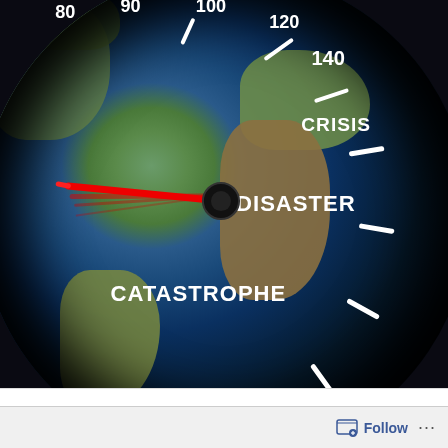[Figure (infographic): A speedometer/gauge overlaid on a globe (world map) image. The needle is red and pointing to the left (high speed zone). The gauge has labels: numbers 80, 90, 100, 120, 140 at top, then text labels CRISIS, DISASTER, CATASTROPHE with white tick marks. The needle points toward CATASTROPHE zone.]
GRACE. We hear the word, We sing of its...
Follow ...